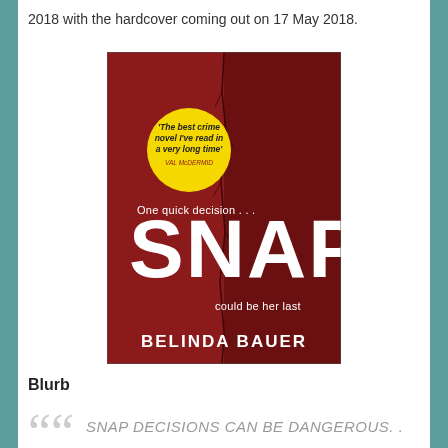2018 with the hardcover coming out on 17 May 2018.
[Figure (photo): Book cover of 'SNAP' by Belinda Bauer. Dark red cover with a vertical crack down the middle. A yellow circle badge reads "The best crime novel I've read in a very long time' VAL McDERMID". White text reads 'One quick decision ...' at the top and 'could be her last' below the title. The title 'SNAP' is in large white letters in the center. The author name 'BELINDA BAUER' appears at the bottom.]
Blurb
SNAP DECISIONS CAN BE DANGEROUS...